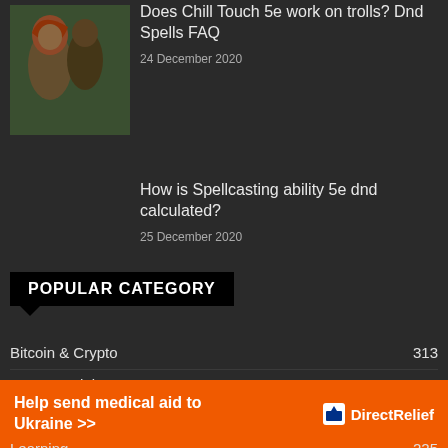[Figure (photo): Photo of people dressed as mythological/fantasy characters with red hair and natural background]
Does Chill Touch 5e work on trolls? Dnd Spells FAQ
24 December 2020
How is Spellcasting ability 5e dnd calculated?
25 December 2020
POPULAR CATEGORY
Bitcoin & Crypto 313
D&D Special 288
Games 282
General 232
Learning 225
Help send medical aid to Ukraine >> DirectRelief